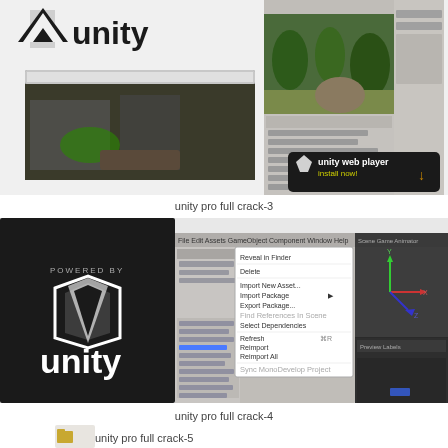[Figure (screenshot): Unity game engine screenshots showing Unity logo, a first-person shooter game view in browser, Unity editor with 3D scene (tropical environment with rocks), hierarchy panel, inspector panel, and a 'unity web player install now' button.]
unity pro full crack-3
[Figure (screenshot): Unity game engine screenshots showing 'Powered by Unity' logo on dark background, Unity editor with context menu open (options: Reveal in Finder, Delete, Import New Asset, Import Package, Export Package, Find References In Scene, Select Dependencies, Refresh, Reimport, Reimport All, Sync MonoDevelop Project), a 3D scene viewport, project panel with file hierarchy, and 'Crackedlot.com' watermark in pink text.]
unity pro full crack-4
[Figure (screenshot): Partial view of another Unity screenshot labeled 'unity pro full crack-5', showing only the top portion with a folder icon.]
unity pro full crack-5